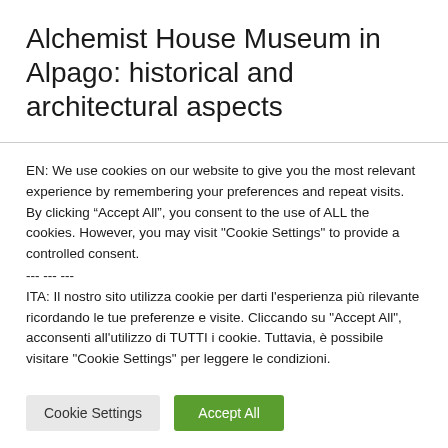Alchemist House Museum in Alpago: historical and architectural aspects
EN: We use cookies on our website to give you the most relevant experience by remembering your preferences and repeat visits. By clicking “Accept All”, you consent to the use of ALL the cookies. However, you may visit "Cookie Settings" to provide a controlled consent.
--- --- ---
ITA: Il nostro sito utilizza cookie per darti l'esperienza più rilevante ricordando le tue preferenze e visite. Cliccando su "Accept All", acconsenti all'utilizzo di TUTTI i cookie. Tuttavia, è possibile visitare "Cookie Settings" per leggere le condizioni.
Cookie Settings
Accept All